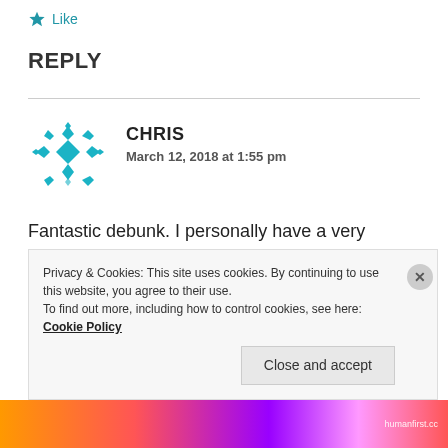Like
REPLY
CHRIS
March 12, 2018 at 1:55 pm
Fantastic debunk. I personally have a very balanced diet, which I am extremely happy with and thankfully I am healthy!. I have been looking for intellectual an elegant article to give to a rather ‘force upon the
Privacy & Cookies: This site uses cookies. By continuing to use this website, you agree to their use.
To find out more, including how to control cookies, see here: Cookie Policy
Close and accept